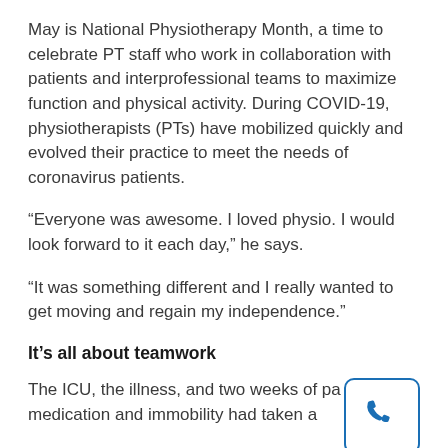May is National Physiotherapy Month, a time to celebrate PT staff who work in collaboration with patients and interprofessional teams to maximize function and physical activity. During COVID-19, physiotherapists (PTs) have mobilized quickly and evolved their practice to meet the needs of coronavirus patients.
“Everyone was awesome. I loved physio. I would look forward to it each day,” he says.
“It was something different and I really wanted to get moving and regain my independence.”
It’s all about teamwork
The ICU, the illness, and two weeks of pa medication and immobility had taken a
[Figure (illustration): Blue telephone handset icon inside a rounded rectangle border in blue]